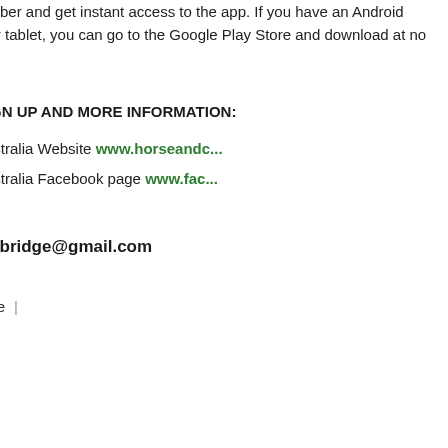a subscriber and get instant access to the app. If you have an Android device or tablet, you can go to the Google Play Store and download at no charge.
FOR SIGN UP AND MORE INFORMATION:
H&C Australia Website www.horseandc...
H&C Australia Facebook page www.fac...
col.lethbridge@gmail.com
+ Share  |